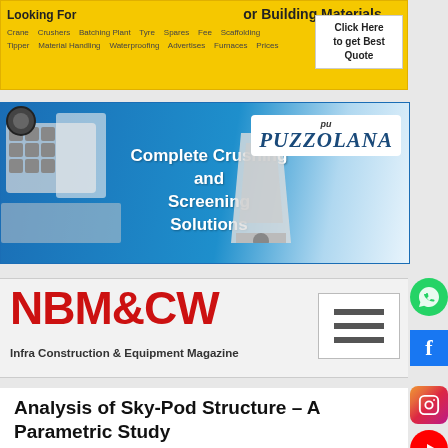[Figure (infographic): Yellow banner advertisement for construction equipment/building materials with categories like Crane, Crushers, Batching Plant, Tipper, Material Handling, Scaffolding, Prices listed, with Click Here to get Best Quote button]
[Figure (infographic): Blue banner advertisement for Puzzolana - Complete Crushing and Screening Solutions with images of crushing/screening equipment]
[Figure (logo): NBM&CW logo in red bold text - Infra Construction & Equipment Magazine with hamburger menu icon]
Analysis of Sky-Pod Structure – A Parametric Study
Ammar F. Vanank, PG Scholar (Structural Engineering)
Dr. Atul K. Desai, Associate Professor Applied Mechanics Department – SVNIT-Surat
Introduction
In every country, developed or developing, one has to